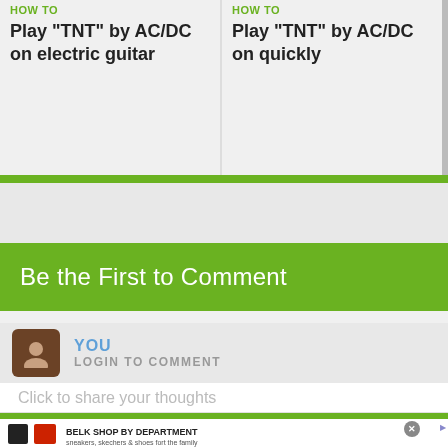HOW TO: Play "TNT" by AC/DC on electric guitar
HOW TO: Play "TNT" by AC/DC on quickly
Be the First to Comment
YOU
LOGIN TO COMMENT
Click to share your thoughts
BELK SHOP BY DEPARTMENT
sneakers, skechers & shoes fort the family
www.belk.com